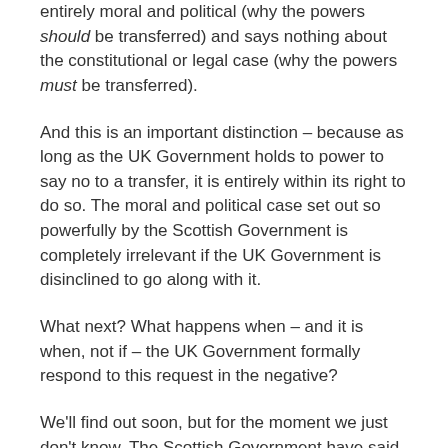entirely moral and political (why the powers should be transferred) and says nothing about the constitutional or legal case (why the powers must be transferred).
And this is an important distinction – because as long as the UK Government holds to power to say no to a transfer, it is entirely within its right to do so. The moral and political case set out so powerfully by the Scottish Government is completely irrelevant if the UK Government is disinclined to go along with it.
What next? What happens when – and it is when, not if – the UK Government formally respond to this request in the negative?
We'll find out soon, but for the moment we just don't know. The Scottish Government have said that they would review their options as and when the time comes, but frankly that is an abject failure of responsibility for the simple reason that it is precisely the situation we were in the day after the